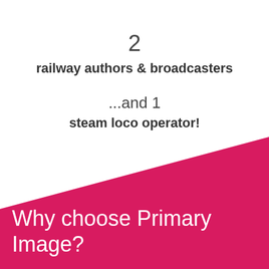2
railway authors & broadcasters
...and 1
steam loco operator!
Why choose Primary Image?